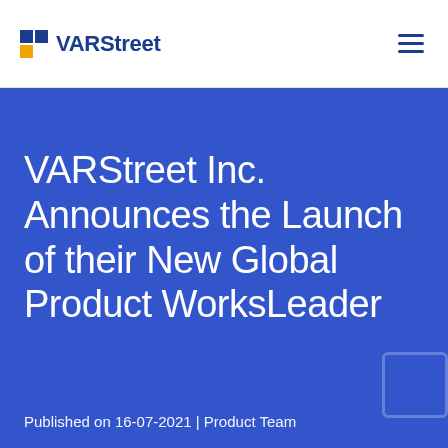VARStreet
VARStreet Inc. Announces the Launch of their New Global Product WorksLeader
Published on 16-07-2021 | Product Team